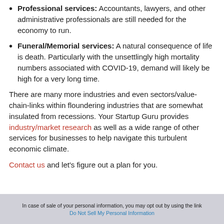Professional services: Accountants, lawyers, and other administrative professionals are still needed for the economy to run.
Funeral/Memorial services: A natural consequence of life is death. Particularly with the unsettlingly high mortality numbers associated with COVID-19, demand will likely be high for a very long time.
There are many more industries and even sectors/value-chain-links within floundering industries that are somewhat insulated from recessions. Your Startup Guru provides industry/market research as well as a wide range of other services for businesses to help navigate this turbulent economic climate.
Contact us and let’s figure out a plan for you.
In case of sale of your personal information, you may opt out by using the link Do Not Sell My Personal Information